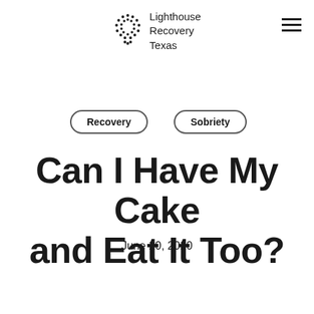Lighthouse Recovery Texas
Recovery
Sobriety
Can I Have My Cake and Eat It Too?
June 20, 2020